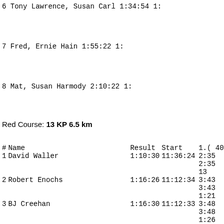6 Tony Lawrence, Susan Carl    1:34:54 1:
7 Fred, Ernie Hain             1:55:22 1:
8 Mat, Susan Harmody           2:10:22 1:
Red Course: 13 KP 6.5 km
| # | Name | Result | Start | 1.( 40) |
| --- | --- | --- | --- | --- |
| 1 | David Waller | 1:10:30 | 11:36:24 | 2:35  2 |
|  |  |  |  | 2:35  2 |
|  |  |  |  | 13 |
| 2 | Robert Enochs | 1:16:26 | 11:12:34 | 3:43  6 |
|  |  |  |  | 3:43  6 |
|  |  |  |  | 1:21 |
| 3 | BJ Creehan | 1:16:30 | 11:12:33 | 3:48  7 |
|  |  |  |  | 3:48  7 |
|  |  |  |  | 1:26 |